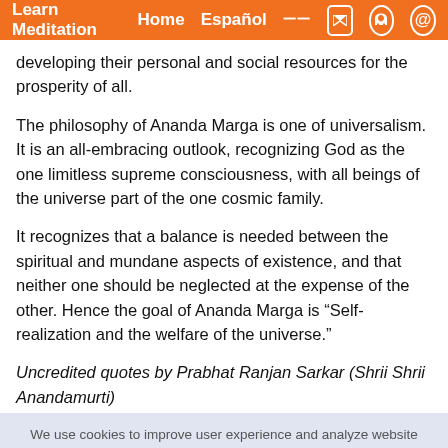Learn Meditation  Home  Español
developing their personal and social resources for the prosperity of all.
The philosophy of Ananda Marga is one of universalism. It is an all-embracing outlook, recognizing God as the one limitless supreme consciousness, with all beings of the universe part of the one cosmic family.
It recognizes that a balance is needed between the spiritual and mundane aspects of existence, and that neither one should be neglected at the expense of the other. Hence the goal of Ananda Marga is “Self-realization and the welfare of the universe.”
Uncredited quotes by Prabhat Ranjan Sarkar (Shrii Shrii Anandamurti)
We use cookies to improve user experience and analyze website traffic. By clicking “Accept,” you agree to our website’s cookie use as described in our Cookie Policy. You can change your cookie settings at any time by clicking “Preferences.”
DECLINE  ACCEPT